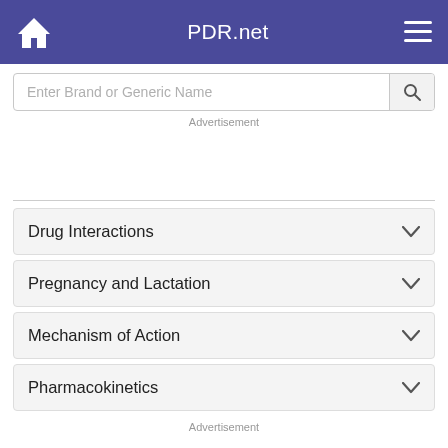PDR.net
Enter Brand or Generic Name
Advertisement
Drug Interactions
Pregnancy and Lactation
Mechanism of Action
Pharmacokinetics
Advertisement